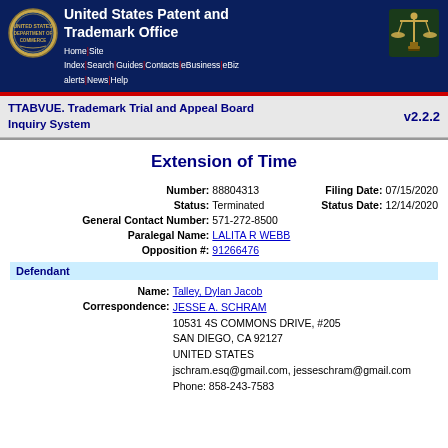United States Patent and Trademark Office
TTABVUE. Trademark Trial and Appeal Board Inquiry System v2.2.2
Extension of Time
| Field | Value |
| --- | --- |
| Number: | 88804313 |
| Filing Date: | 07/15/2020 |
| Status: | Terminated |
| Status Date: | 12/14/2020 |
| General Contact Number: | 571-272-8500 |
| Paralegal Name: | LALITA R WEBB |
| Opposition #: | 91266476 |
Defendant
| Field | Value |
| --- | --- |
| Name: | Talley, Dylan Jacob |
| Correspondence: | JESSE A. SCHRAM
10531 4S COMMONS DRIVE, #205
SAN DIEGO, CA 92127
UNITED STATES
jschram.esq@gmail.com, jesseschram@gmail.com
Phone: 858-243-7583 |